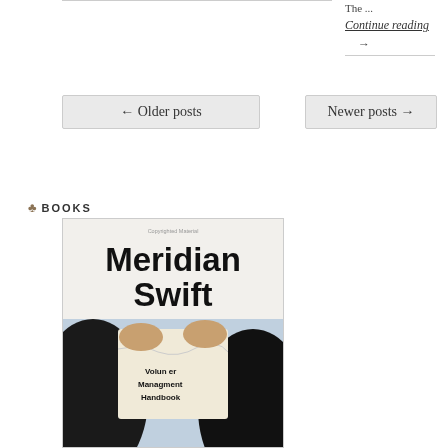The ...
Continue reading →
← Older posts
Newer posts →
♣ BOOKS
[Figure (photo): Book cover for 'Meridian Swift – Volunteer Management Handbook'. Top half shows white/grey background with title text 'Meridian Swift' in large bold serif font and 'Copyrighted Material' in small text. Bottom half shows a photo of hands tearing a document labeled 'Volunteer Management Handbook'.]